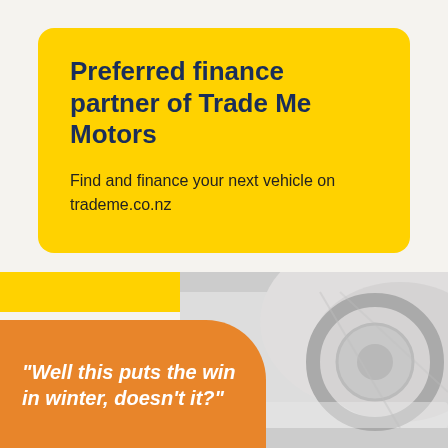Preferred finance partner of Trade Me Motors
Find and finance your next vehicle on trademe.co.nz
[Figure (photo): Bottom section with yellow rectangle top-left, snowy/wintry photo on the right, and an orange rounded speech bubble overlay with italic quote text.]
“Well this puts the win in winter, doesn’t it?”